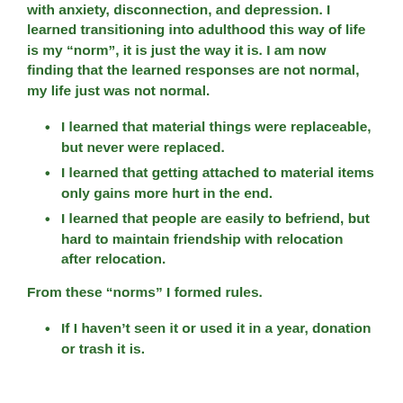with anxiety, disconnection, and depression. I learned transitioning into adulthood this way of life is my “norm”, it is just the way it is. I am now finding that the learned responses are not normal, my life just was not normal.
I learned that material things were replaceable, but never were replaced.
I learned that getting attached to material items only gains more hurt in the end.
I learned that people are easily to befriend, but hard to maintain friendship with relocation after relocation.
From these “norms” I formed rules.
If I haven’t seen it or used it in a year, donation or trash it is.